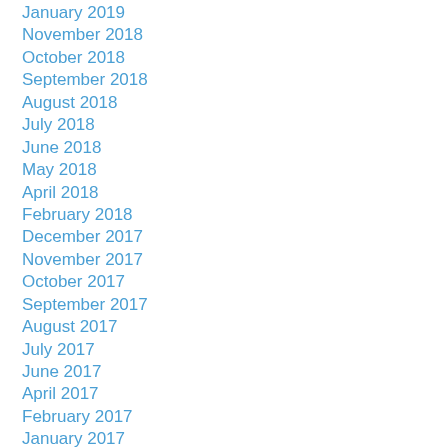January 2019
November 2018
October 2018
September 2018
August 2018
July 2018
June 2018
May 2018
April 2018
February 2018
December 2017
November 2017
October 2017
September 2017
August 2017
July 2017
June 2017
April 2017
February 2017
January 2017
December 2016